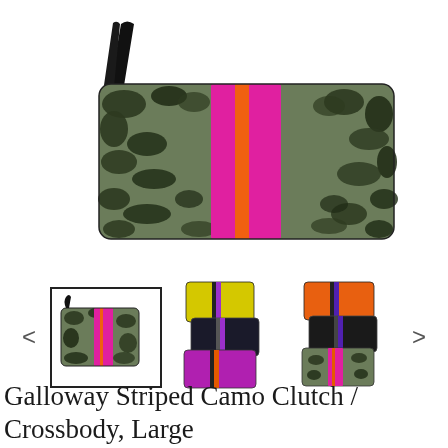[Figure (photo): Main product image: a camouflage clutch/crossbody bag with pink and orange vertical stripes in the center, and a black wrist strap on the upper left corner.]
[Figure (photo): Thumbnail gallery row showing three product images: (1) selected - camo bag with pink/orange stripes, (2) yellow/dark bag set with colorful stripes, (3) orange/dark/camo bag set with stripes. Navigation arrows on left and right.]
Galloway Striped Camo Clutch / Crossbody, Large